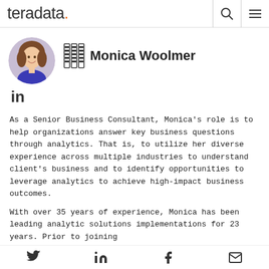teradata.
[Figure (photo): Portrait photo of Monica Woolmer, a woman with brown hair wearing a blue top, circular crop]
Monica Woolmer
[Figure (logo): LinkedIn logo icon]
As a Senior Business Consultant, Monica's role is to help organizations answer key business questions through analytics. That is, to utilize her diverse experience across multiple industries to understand client's business and to identify opportunities to leverage analytics to achieve high-impact business outcomes.
With over 35 years of experience, Monica has been leading analytic solutions implementations for 23 years. Prior to joining
Twitter LinkedIn Facebook Email